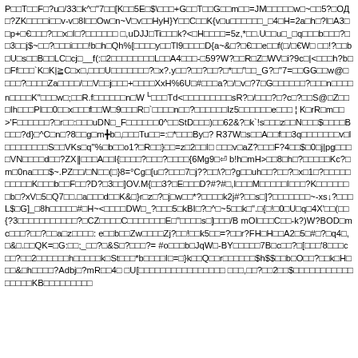P□□T□F?u□/33□k^□"7□□[K□□5E□$\□□□+G□□T□□G□□m□□=JM□□□□
□w□~□□5?□О Д□?ZK□□□□i□□v-v□8I□□Ow□n~V□v□□HyH}Y□□C□□K{v□
u□□□□□□_□4□H=2a□h□?l□A3□□p+□€□□□?□□x□I□?□□□□□□ □,uDJJ□Ti□□□k?
<□H□□□□=5z,*□□.U□□u□_□q□□□b□□□?□□3□□j$~□□?□□□i□□□!b□h□Qh%[□□□
□y□□Tl9□□□□D{a~&□?□€□□e□□f(□/□€W□ □□!?□□b□U□s□□B□□LC□cj□__f(:□2
□□□□□□□□L□□A4□□□-□59?W?□□R□Z□WV□i?9c□|<□□□h?b□□Ff□□□`K□K|≧C
□x□,□□□U□□□□□□□?□x?.y□□?□□?□□?□*□□"□□_G?□"7=□□GG□□w@□□□□?□
□□□Za□□□□/□□V□□j□□□+□□□□XxH%6U□#□□□a?□/□v□?7□G□□□□□□?□□□n□□□□n□
□□□□K"□□□w□;□□R.f□□□□□□n□W ᴸ□□□Td<□□□□□□□□□sR?□/□□□?□?c□?□□S@□Z
□□□Ih□□□Pl□□0□□x□□□f□□W□9□□□R□`□□□□n□□?□□□□□□Iz5□□□□□□e□□□ ¦ K□
rR□m□□>'F□□□□□□?□r□□:□□□uDN□_F□□□□□□0^□□StD□□□)□□62&?□k`!s□□□z
□□N□□□$□□□□B□□□?d}□^C□n□?8□□g□m╋b□,□□□Tu□□=:□*□□□By□? R37W□
s□□A□□f□□3q□□□□□□□v□l□□□□□□□□S□□VKs□q"%□b□□o1?□R□□}□□=z□2□□I□ □□□
v□aZ?□□□F?4□□$□0□j|pg□□□□VN□□□□d□□?ZX‖□□□A□□I{□□□□?□□□?□□
□□{6Mg9□⏎ b!h□mH>□□8□h□?□□□□□Kc?□ m□0na□□□$~.PZ□□/□N□□(□}8
=°Cg□[u□?□□□7□j??□□\?□?g□□uh□□?□□?□x□1□?□□□□□□□□□□K□□□b□□F□□?D?
□3□□]OV.M{□□3?□E□□□D?#?#□,I□□□M□□□□□I□□□?K□□□□□□□b□?xV□5□Q7□
□.□a□□□d□□K&□}r□z□?□j□w□□*?□□□□k2j#?□□s□]?□□□□□□□~-xs↓?□□□ L$□
G]_□8h□□□□□#□H~<□□□□DW□_?□□□5□kBI□?□^□~5□□k□".□{□!□0□U□q□
4X'□□(□□{?3□□□□□□□□□□□?□CZ□□□□C□□□□□□□E□"□□□□s□]□□□/B mOI□□□C
□□-k?)W?BOD□mc□□□?□□?□□a□z□□□□: e□□b□□Zw□□□□Zj?□□!□□k5□□=?□□
r?FH□H□□A2□5□#□?□q4□,□&□.□□QK=□G:□□;_□□?□&S□?□□□?= #o□□□
b□JqW□-BY□□□□□7B□c□□?□[□□□'8□□□c□□?□□2□□□□□□h□□□□□k□St□□□*b□□
□□I□=□}k□□Q□□r□□□□□□$h$$□□b□O□□?□□k□H□□□&□h□□□□?Adbj□?mR□
□4□ □U[□□□□□□□□□□□□□□□□ □□□,□□?□□2□□$□□□□□□□□□□□□□□□□KB□□□□□□□□□